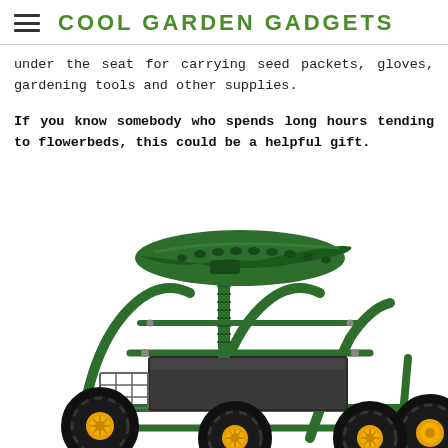COOL GARDEN GADGETS
under the seat for carrying seed packets, gloves, gardening tools and other supplies.
If you know somebody who spends long hours tending to flowerbeds, this could be a helpful gift.
[Figure (photo): A green garden scooter/rolling garden seat with four large black and yellow wheels, a green metal frame, a black storage tray underneath the seat, a wire basket, and a green contoured tractor-style seat on an adjustable post.]